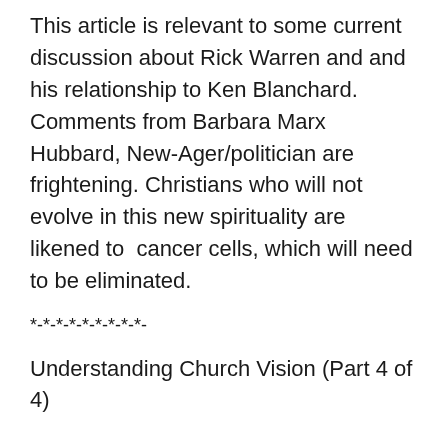This article is relevant to some current discussion about Rick Warren and and his relationship to Ken Blanchard. Comments from Barbara Marx Hubbard, New-Ager/politician are frightening. Christians who will not evolve in this new spirituality are likened to  cancer cells, which will need to be eliminated.
*-*-*-*-*-*-*-*-*-
Understanding Church Vision (Part 4 of 4)